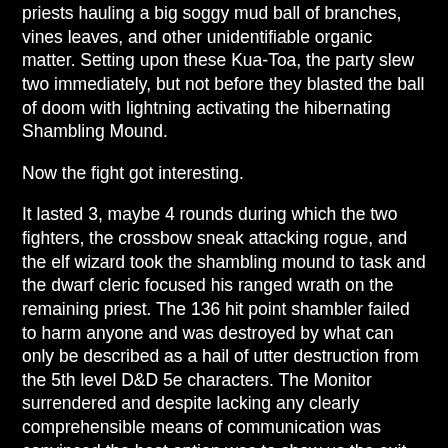priests hauling a big soggy mud ball of branches, vines leaves, and other unidentifiable organic matter. Setting upon these Kua-Toa, the party slew two immediately, but not before they blasted the ball of doom with lightning activating the hibernating Shambling Mound.
Now the fight got interesting.
It lasted 3, maybe 4 rounds during which the two fighters, the crossbow sneak attacking rogue, and the elf wizard took the shambling mound to task and the dwarf cleric focused his ranged wrath on the remaining priest. The 136 hit point shambler failed to harm anyone and was destroyed by what can only be described as a hail of utter destruction from the 5th level D&D 5e characters. The Monitor surrendered and despite lacking any clearly comprehensible means of communication was convinced the best option was to show us the exit.
- 5e characters, even from 1st level are brutally capable combatants, getting to 5th level it is amazing the damage they can dish out. The rogue was doing the most damage